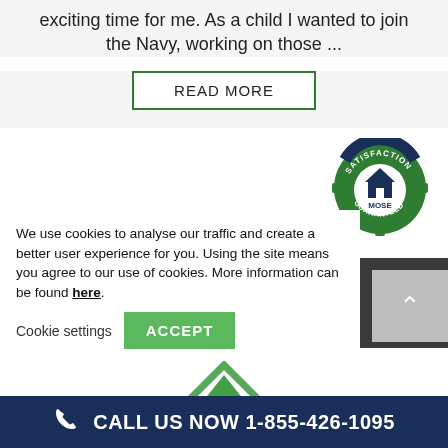exciting time for me. As a child I wanted to join the Navy, working on those ...
READ MORE
[Figure (logo): Satisfaction Guaranteed badge with MOSE logo in green and dark blue]
We use cookies to analyse our traffic and create a better user experience for you. Using the site means you agree to our use of cookies. More information can be found here.
Cookie settings
ACCEPT
[Figure (logo): Green and white house/arrow logo partially visible]
CALL US NOW 1-855-426-1095